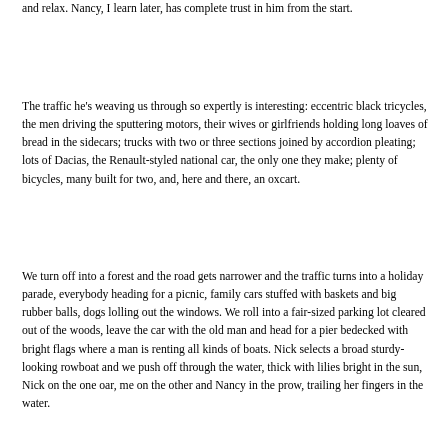and relax. Nancy, I learn later, has complete trust in him from the start.
The traffic he's weaving us through so expertly is interesting: eccentric black tricycles, the men driving the sputtering motors, their wives or girlfriends holding long loaves of bread in the sidecars; trucks with two or three sections joined by accordion pleating; lots of Dacias, the Renault-styled national car, the only one they make; plenty of bicycles, many built for two, and, here and there, an oxcart.
We turn off into a forest and the road gets narrower and the traffic turns into a holiday parade, everybody heading for a picnic, family cars stuffed with baskets and big rubber balls, dogs lolling out the windows. We roll into a fair-sized parking lot cleared out of the woods, leave the car with the old man and head for a pier bedecked with bright flags where a man is renting all kinds of boats. Nick selects a broad sturdy-looking rowboat and we push off through the water, thick with lilies bright in the sun, Nick on the one oar, me on the other and Nancy in the prow, trailing her fingers in the water.